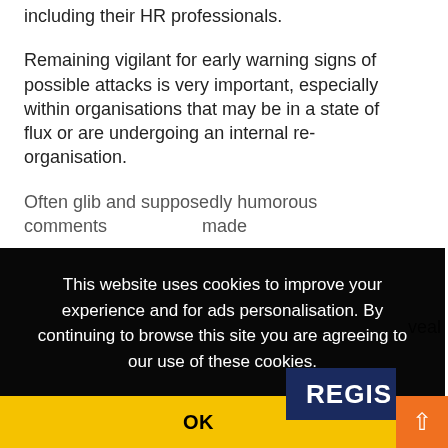including their HR professionals.
Remaining vigilant for early warning signs of possible attacks is very important, especially within organisations that may be in a state of flux or are undergoing an internal re-organisation.
Often glib and supposedly humorous comments made [partially obscured] ...veal ...e ...y
This website uses cookies to improve your experience and for ads personalisation. By continuing to browse this site you are agreeing to our use of these cookies. You can learn more about the cookies we use here.
OK
REGIS